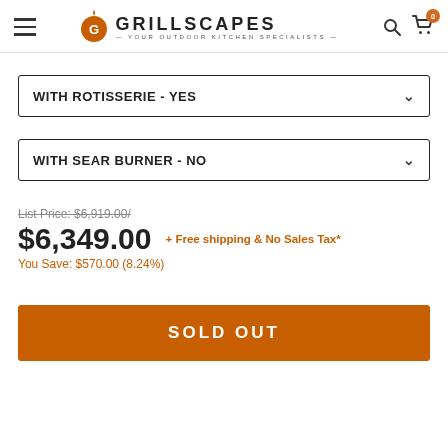GRILLSCAPES — YOUR OUTDOOR KITCHEN SPECIALISTS
WITH ROTISSERIE - YES
WITH SEAR BURNER - NO
List Price: $6,919.00/
$6,349.00  + Free shipping & No Sales Tax*
You Save: $570.00 (8.24%)
SOLD OUT